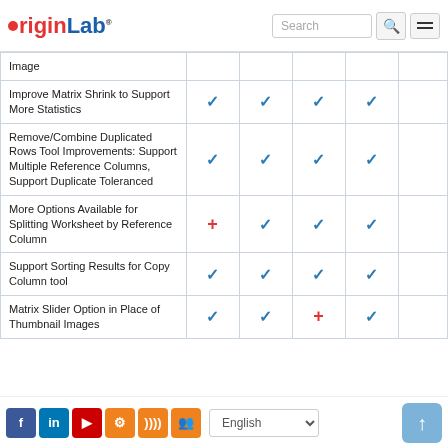OriginLab
| Feature | Col1 | Col2 | Col3 | Col4 | Col5 |
| --- | --- | --- | --- | --- | --- |
| Image |  |  |  |  |  |
| Improve Matrix Shrink to Support More Statistics | ✓ | ✓ | ✓ | ✓ |  |
| Remove/Combine Duplicated Rows Tool Improvements: Support Multiple Reference Columns, Support Duplicate Toleranced | ✓ | ✓ | ✓ | ✓ |  |
| More Options Available for Splitting Worksheet by Reference Column | + | ✓ | ✓ | ✓ |  |
| Support Sorting Results for Copy Column tool | ✓ | ✓ | ✓ | ✓ |  |
| Matrix Slider Option in Place of Thumbnail Images | ✓ | ✓ | + | ✓ |  |
Social icons | English | Up button